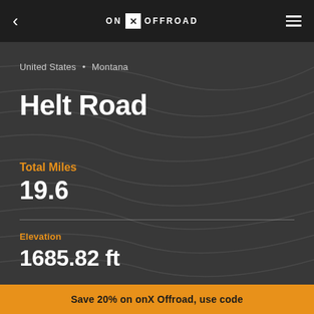ON X OFFROAD
United States • Montana
Helt Road
Total Miles
19.6
Elevation
1685.82 ft
Save 20% on onX Offroad, use code